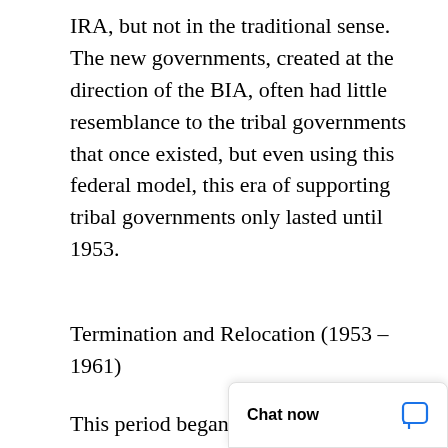IRA, but not in the traditional sense. The new governments, created at the direction of the BIA, often had little resemblance to the tribal governments that once existed, but even using this federal model, this era of supporting tribal governments only lasted until 1953.
Termination and Relocation (1953 – 1961)
This period began